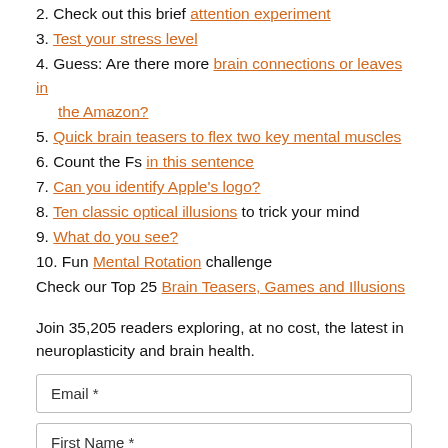2. Check out this brief attention experiment
3. Test your stress level
4. Guess: Are there more brain connections or leaves in the Amazon?
5. Quick brain teasers to flex two key mental muscles
6. Count the Fs in this sentence
7. Can you identify Apple's logo?
8. Ten classic optical illusions to trick your mind
9. What do you see?
10. Fun Mental Rotation challenge
Check our Top 25 Brain Teasers, Games and Illusions
Join 35,205 readers exploring, at no cost, the latest in neuroplasticity and brain health.
Email *
First Name *